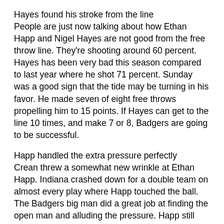Hayes found his stroke from the line
People are just now talking about how Ethan Happ and Nigel Hayes are not good from the free throw line. They're shooting around 60 percent. Hayes has been very bad this season compared to last year where he shot 71 percent. Sunday was a good sign that the tide may be turning in his favor. He made seven of eight free throws propelling him to 15 points. If Hayes can get to the line 10 times, and make 7 or 8, Badgers are going to be successful.
Happ handled the extra pressure perfectly
Crean threw a somewhat new wrinkle at Ethan Happ. Indiana crashed down for a double team on almost every play where Happ touched the ball. The Badgers big man did a great job at finding the open man and alluding the pressure. Happ still finished with 20 points despite the constant double-teams in the post. Not sure if it was as successful as they would have wanted.